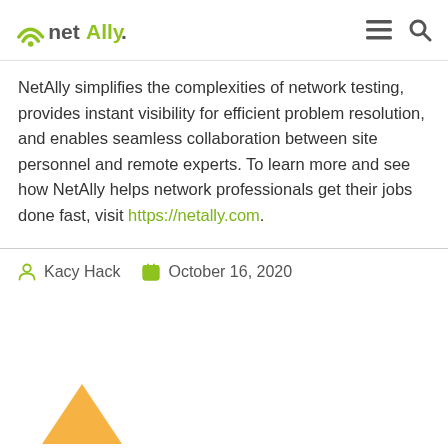NetAlly
NetAlly simplifies the complexities of network testing, provides instant visibility for efficient problem resolution, and enables seamless collaboration between site personnel and remote experts. To learn more and see how NetAlly helps network professionals get their jobs done fast, visit https://netally.com.
Kacy Hack  October 16, 2020